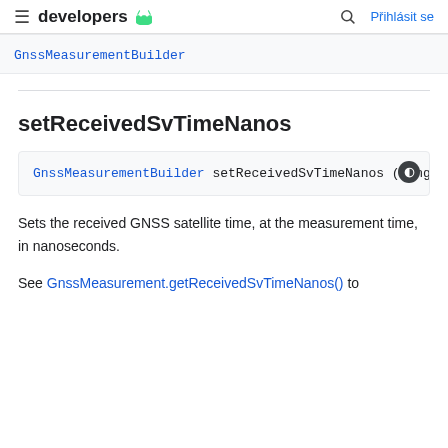developers | Přihlásit se
| GnssMeasurementBuilder |
setReceivedSvTimeNanos
| GnssMeasurementBuilder setReceivedSvTimeNanos (long |
Sets the received GNSS satellite time, at the measurement time, in nanoseconds.
See GnssMeasurement.getReceivedSvTimeNanos() to